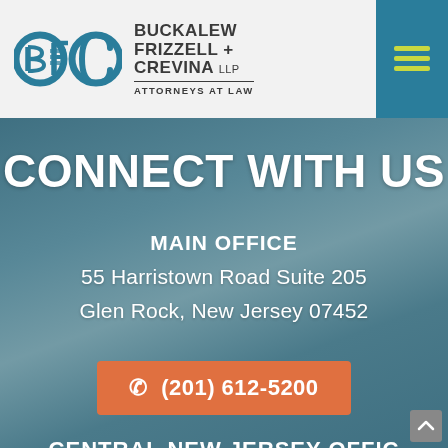[Figure (logo): BFC logo with circular B, F, C letters in teal/blue]
BUCKALEW FRIZZELL + CREVINA LLP ATTORNEYS AT LAW
CONNECT WITH US
MAIN OFFICE
55 Harristown Road Suite 205
Glen Rock, New Jersey 07452
(201) 612-5200
CENTRAL NEW JERSEY OFFIC